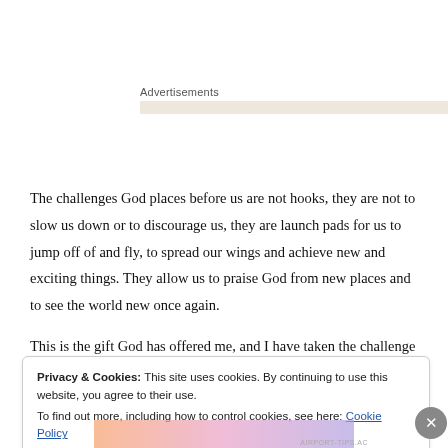Advertisements
The challenges God places before us are not hooks, they are not to slow us down or to discourage us, they are launch pads for us to jump off of and fly, to spread our wings and achieve new and exciting things. They allow us to praise God from new places and to see the world new once again.
This is the gift God has offered me, and I have taken the challenge of it.
Privacy & Cookies: This site uses cookies. By continuing to use this website, you agree to their use.
To find out more, including how to control cookies, see here: Cookie Policy